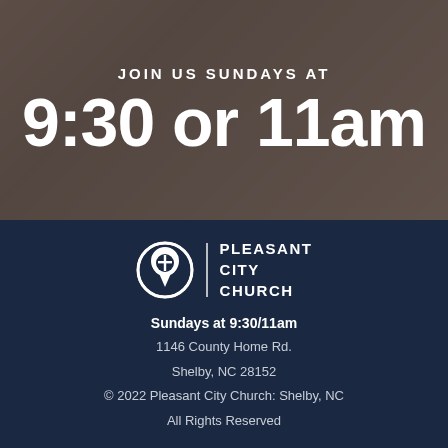JOIN US SUNDAYS AT
9:30 or 11am
[Figure (logo): Pleasant City Church circular logo with cross, white on dark navy background]
PLEASANT CITY CHURCH
Sundays at 9:30/11am
1146 County Home Rd.
Shelby, NC 28152
© 2022 Pleasant City Church: Shelby, NC
All Rights Reserved